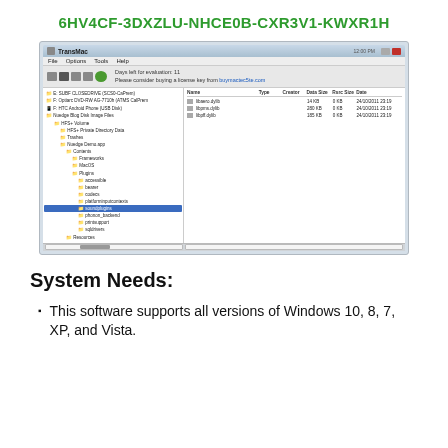6HV4CF-3DXZLU-NHCE0B-CXR3V1-KWXR1H
[Figure (screenshot): Screenshot of TransMac application window showing a file browser with a tree panel on the left and file listing on the right. Files shown include: libaero.dylib (14 KB, 0 KB, 24/10/2011 23:19), libpms.dylib (280 KB, 0 KB, 24/10/2011 23:19), libpff.dylib (185 KB, 0 KB, 24/10/2011 23:19). The tree panel shows a folder structure with Nuedge Blog Disk Image Files selected, with subfolders including HFS+ Volume, HFS+ Private Directory Data, Trashes, Nuedge Demo.app/Contents/Frameworks, MacOS, Plugins (accessible, bearer, codecs, platforminputcontexts/soundplugins [selected], phonon_backend, printsupport, sqldrivers), Resources.]
System Needs:
This software supports all versions of Windows 10, 8, 7, XP, and Vista.